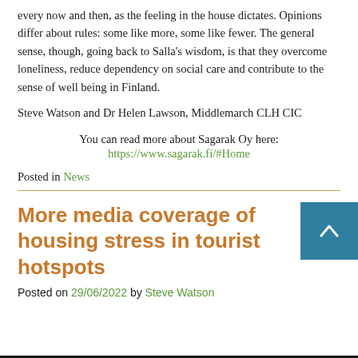every now and then, as the feeling in the house dictates. Opinions differ about rules: some like more, some like fewer. The general sense, though, going back to Salla's wisdom, is that they overcome loneliness, reduce dependency on social care and contribute to the sense of well being in Finland.
Steve Watson and Dr Helen Lawson, Middlemarch CLH CIC
You can read more about Sagarak Oy here:
https://www.sagarak.fi/#Home
Posted in News
More media coverage of housing stress in tourist hotspots
Posted on 29/06/2022 by Steve Watson